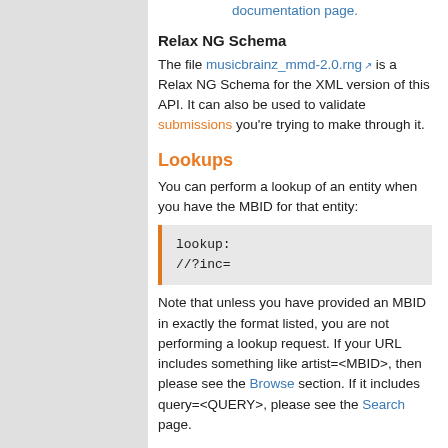documentation page.
Relax NG Schema
The file musicbrainz_mmd-2.0.rng is a Relax NG Schema for the XML version of this API. It can also be used to validate submissions you're trying to make through it.
Lookups
You can perform a lookup of an entity when you have the MBID for that entity:
lookup:
/<ENTITY_TYPE>/<MBID>?inc=
<INC>
Note that unless you have provided an MBID in exactly the format listed, you are not performing a lookup request. If your URL includes something like artist=<MBID>, then please see the Browse section. If it includes query=<QUERY>, please see the Search page.